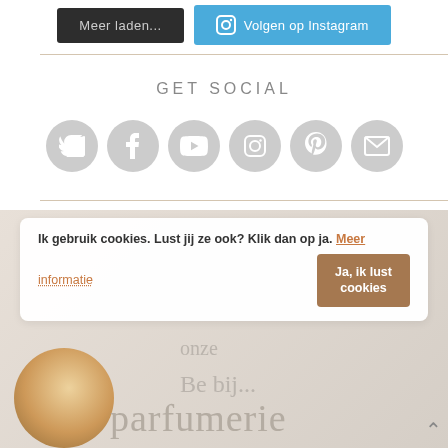[Figure (screenshot): Two buttons: dark 'Meer laden...' and blue 'Volgen op Instagram']
GET SOCIAL
[Figure (infographic): Row of 6 grey social media icon circles: Twitter, Facebook, YouTube, Instagram, Pinterest, Email]
[Figure (screenshot): Cookie consent bar with message 'Ik gebruik cookies. Lust jij ze ook? Klik dan op ja. Meer informatie' and button 'Ja, ik lust cookies', overlaid on parfumerie page background]